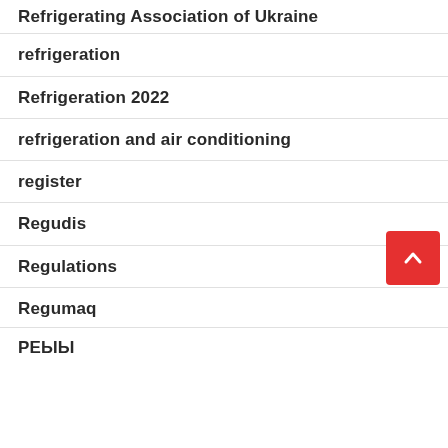Refrigerating Association of Ukraine
refrigeration
Refrigeration 2022
refrigeration and air conditioning
register
Regudis
Regulations
Regumaq
РЕЫЫ...